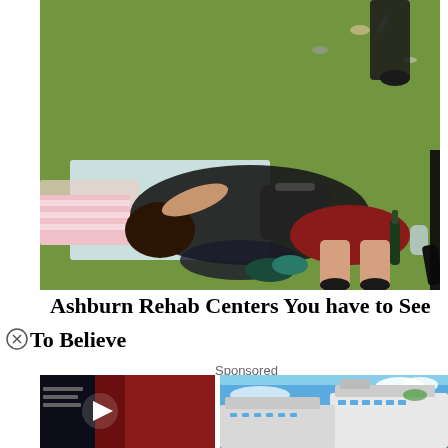[Figure (photo): People lying on grass at an outdoor event, surrounded by litter, bags, clothing, and bottles. A woman in a black dress is lying on a blanket.]
Ashburn Rehab Centers You have to See To Believe
[Figure (screenshot): Overlapping ad elements: a dark video thumbnail with a play button on the left, a 'Sponsored' label, and a cruise ship photo on the right.]